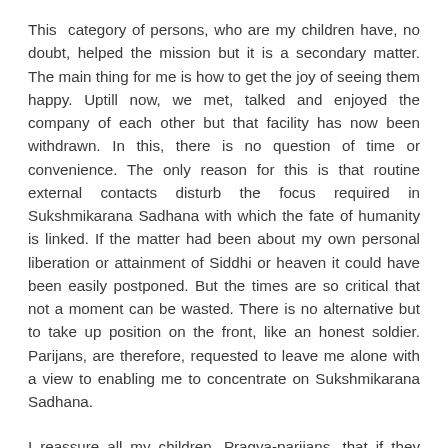This category of persons, who are my children have, no doubt, helped the mission but it is a secondary matter. The main thing for me is how to get the joy of seeing them happy. Uptill now, we met, talked and enjoyed the company of each other but that facility has now been withdrawn. In this, there is no question of time or convenience. The only reason for this is that routine external contacts disturb the focus required in Sukshmikarana Sadhana with which the fate of humanity is linked. If the matter had been about my own personal liberation or attainment of Siddhi or heaven it could have been easily postponed. But the times are so critical that not a moment can be wasted. There is no alternative but to take up position on the front, like an honest soldier. Parijans, are therefore, requested to leave me alone with a view to enabling me to concentrate on Sukshmikarana Sadhana.
I reassure all my children, Pragya-parijans, that if they refine their inner consciousness a little they will feel a deep, intimate affinity with and proximity to me because my astral body will become more radiant and remain